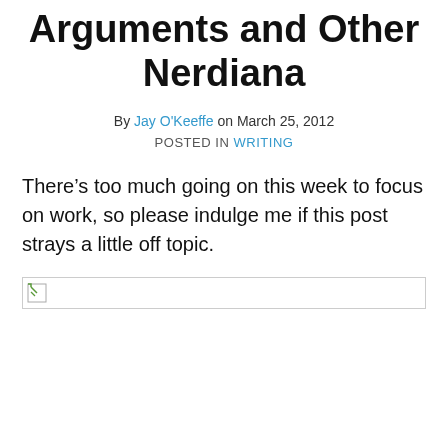Arguments and Other Nerdiana
By Jay O'Keeffe on March 25, 2012
POSTED IN WRITING
There’s too much going on this week to focus on work, so please indulge me if this post strays a little off topic.
[Figure (photo): Broken image placeholder]